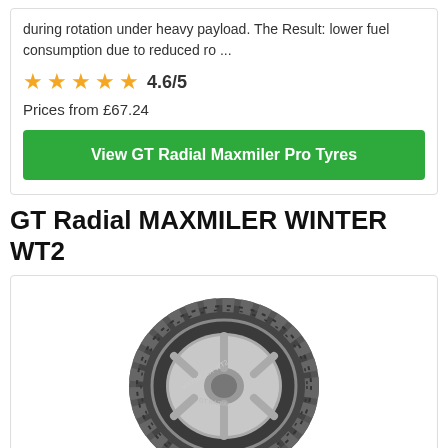during rotation under heavy payload. The Result: lower fuel consumption due to reduced ro ...
★★★★★ 4.6/5
Prices from £67.24
View GT Radial Maxmiler Pro Tyres
GT Radial MAXMILER WINTER WT2
[Figure (photo): GT Radial MAXMILER WINTER WT2 tyre product photo showing tread pattern and alloy wheel]